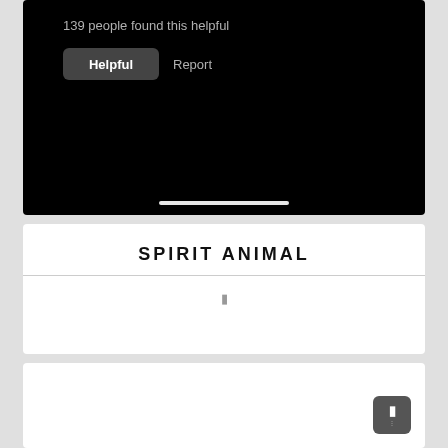[Figure (screenshot): Mobile app screenshot showing a black background UI card with '139 people found this helpful' text, a 'Helpful' button and 'Report' link, and a home indicator bar at the bottom.]
SPIRIT ANIMAL
[Figure (screenshot): White card section below the title with a small icon in the center and a horizontal divider line.]
[Figure (screenshot): White card at the bottom of the page with a dark rounded square button in the bottom right corner.]